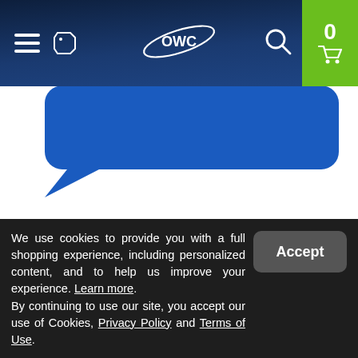OWC navigation header with hamburger menu, tag icon, OWC logo, search icon, and cart (0)
[Figure (illustration): Blue speech bubble shape partially visible below the header]
View More Reviews
Pagination: 1 (active), 2, 3, >
We use cookies to provide you with a full shopping experience, including personalized content, and to help us improve your experience. Learn more. By continuing to use our site, you accept our use of Cookies, Privacy Policy and Terms of Use.